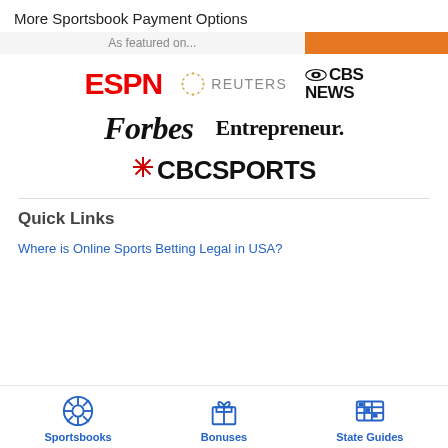More Sportsbook Payment Options
As featured on...
[Figure (logo): ESPN logo in red bold letters]
[Figure (logo): Reuters logo with dotted circular icon and grey text]
[Figure (logo): CBS News logo with eye icon]
[Figure (logo): Forbes logo in black italic serif font]
[Figure (logo): Entrepreneur logo in black serif font]
[Figure (logo): CBC Sports logo with red gem icon]
Quick Links
Where is Online Sports Betting Legal in USA?
[Figure (infographic): Bottom navigation bar with Sportsbooks (soccer ball icon), Bonuses (gift box icon), State Guides (US map icon)]